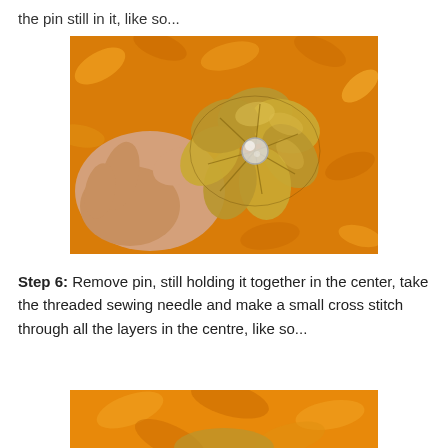the pin still in it, like so...
[Figure (photo): A hand holding a gold/metallic fabric flower with a clear round bead or button in the center, photographed on an orange floral fabric background.]
Step 6: Remove pin, still holding it together in the center, take the threaded sewing needle and make a small cross stitch through all the layers in the centre, like so...
[Figure (photo): Bottom portion of a photo showing an orange floral background with part of a fabric flower visible at the bottom edge.]